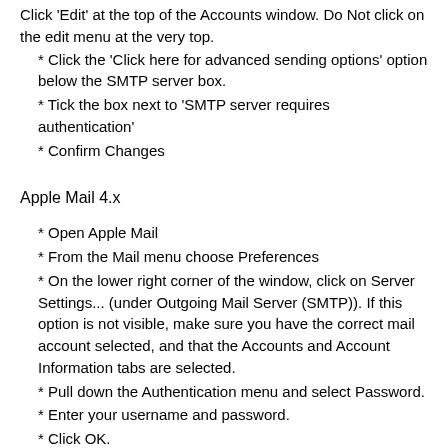Click 'Edit' at the top of the Accounts window. Do Not click on the edit menu at the very top.
* Click the 'Click here for advanced sending options' option below the SMTP server box.
* Tick the box next to 'SMTP server requires authentication'
* Confirm Changes
Apple Mail 4.x
* Open Apple Mail
* From the Mail menu choose Preferences
* On the lower right corner of the window, click on Server Settings... (under Outgoing Mail Server (SMTP)). If this option is not visible, make sure you have the correct mail account selected, and that the Accounts and Account Information tabs are selected.
* Pull down the Authentication menu and select Password.
* Enter your username and password.
* Click OK.